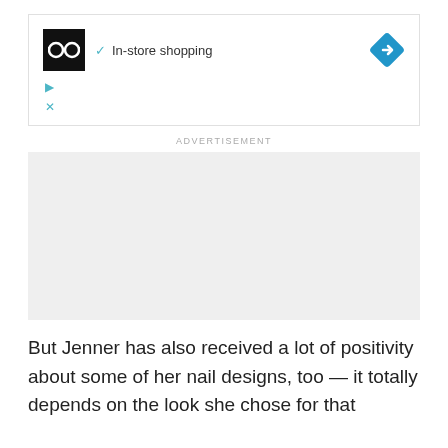[Figure (screenshot): Ad unit showing glasses logo, checkmark with 'In-store shopping' text, blue diamond navigation icon, and ad controls (play and close buttons)]
ADVERTISEMENT
[Figure (other): Gray advertisement placeholder rectangle]
But Jenner has also received a lot of positivity about some of her nail designs, too — it totally depends on the look she chose for that